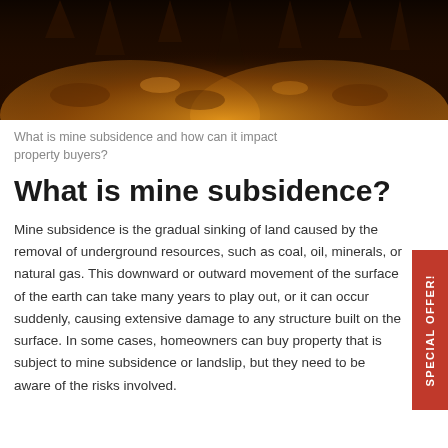[Figure (photo): A dark cave interior with illuminated rock formations glowing in warm orange and yellow tones, showing stalactites and cave walls lit dramatically from below.]
What is mine subsidence and how can it impact property buyers?
What is mine subsidence?
Mine subsidence is the gradual sinking of land caused by the removal of underground resources, such as coal, oil, minerals, or natural gas. This downward or outward movement of the surface of the earth can take many years to play out, or it can occur suddenly, causing extensive damage to any structure built on the surface. In some cases, homeowners can buy property that is subject to mine subsidence or landslip, but they need to be aware of the risks involved.